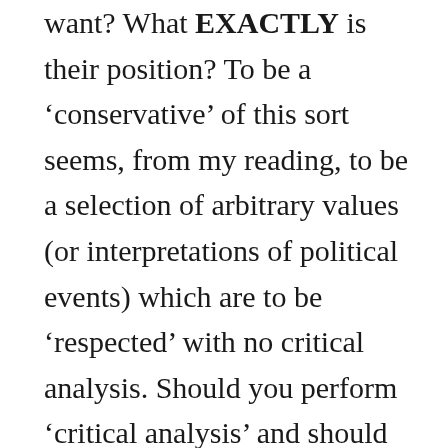want? What EXACTLY is their position? To be a ‘conservative’ of this sort seems, from my reading, to be a selection of arbitrary values (or interpretations of political events) which are to be ‘respected’ with no critical analysis. Should you perform ‘critical analysis’ and should you suggest an alternate